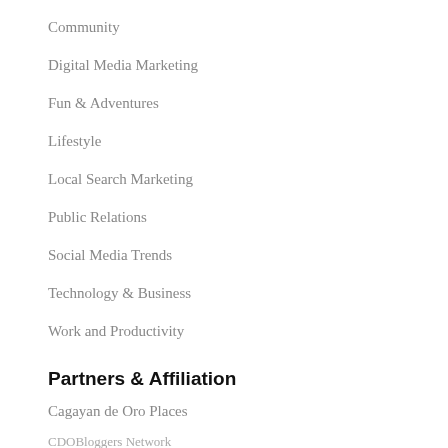Community
Digital Media Marketing
Fun & Adventures
Lifestyle
Local Search Marketing
Public Relations
Social Media Trends
Technology & Business
Work and Productivity
Partners & Affiliation
Cagayan de Oro Places
CDBloggers Network
Cyberpoint Wi-Fi Hotspot
Free Social Media Dashboard